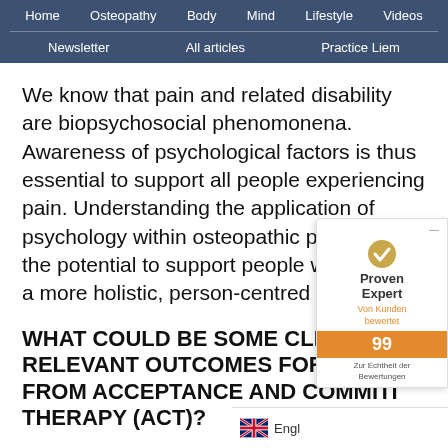Home  Osteopathy  Body  Mind  Lifestyle  Videos  Newsletter  All articles  Practice Liem
We know that pain and related disability are biopsychosocial phenomonena. Awareness of psychological factors is thus essential to support all people experiencing pain. Understanding the application of psychology within osteopathic practice has the potential to support people with pain in a more holistic, person-centred way.
WHAT COULD BE SOME CLINICALLY RELEVANT OUTCOMES FOR OSTEO... FROM ACCEPTANCE AND COMMITI... THERAPY (ACT)?
[Figure (other): ProvenExpert widget overlay showing a gold checkmark badge, 'Proven Expert' logo, 'Von Kunden bewertet' text, score of 99, and 'Zur Echtheit der Bewertungen' footer. An English language selector with UK flag is shown in the bottom right.]